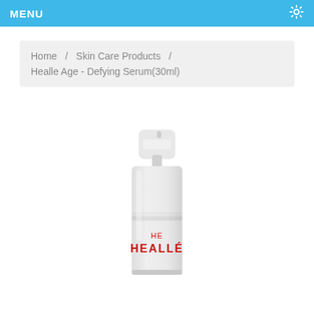MENU
Home / Skin Care Products / Healle Age - Defying Serum(30ml)
[Figure (photo): A skincare serum bottle with a pump dispenser. The bottle is white/frosted with a silver metallic band near the top and red text reading 'HEALLÉ' on the body. It has a white pump cap on top.]